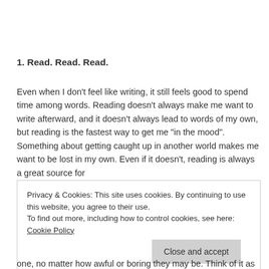1. Read. Read. Read.
Even when I don’t feel like writing, it still feels good to spend time among words. Reading doesn’t always make me want to write afterward, and it doesn’t always lead to words of my own, but reading is the fastest way to get me “in the mood”. Something about getting caught up in another world makes me want to be lost in my own. Even if it doesn’t, reading is always a great source for
Privacy & Cookies: This site uses cookies. By continuing to use this website, you agree to their use.
To find out more, including how to control cookies, see here: Cookie Policy
one, no matter how awful or boring they may be. Think of it as